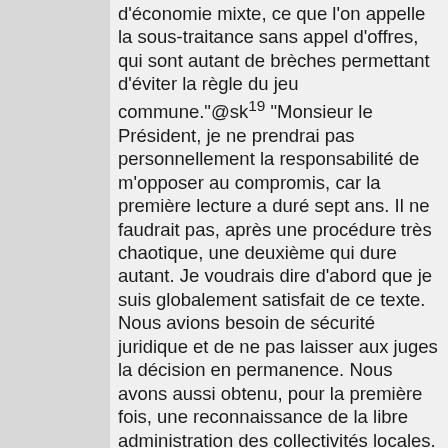d'économie mixte, ce que l'on appelle la sous-traitance sans appel d'offres, qui sont autant de brèches permettant d'éviter la règle du jeu commune."@sk¹⁹ "Monsieur le Président, je ne prendrai pas personnellement la responsabilité de m'opposer au compromis, car la première lecture a duré sept ans. Il ne faudrait pas, après une procédure très chaotique, une deuxième qui dure autant. Je voudrais dire d'abord que je suis globalement satisfait de ce texte. Nous avions besoin de sécurité juridique et de ne pas laisser aux juges la décision en permanence. Nous avons aussi obtenu, pour la première fois, une reconnaissance de la libre administration des collectivités locales. Pour le reste, c'est un texte quand même très compliqué, qui procède d'un compromis de protection du